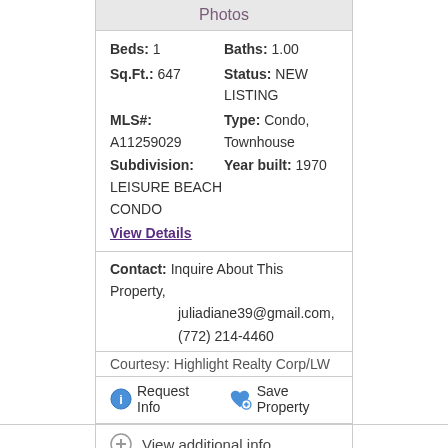Photos
Beds: 1   Baths: 1.00   Sq.Ft.: 647   Status: NEW LISTING   MLS#: A11259029   Type: Condo, Townhouse   Subdivision: LEISURE BEACH CONDO   Year built: 1970
View Details
Contact: Inquire About This Property, juliadiane39@gmail.com, (772) 214-4460
Courtesy: Highlight Realty Corp/LW
Request Info   Save Property
View additional info
$360,000
638 NW 22nd Rd Fort Lauderdale, FL 33311
[Figure (photo): Exterior photo of property showing roof and trees against blue sky]